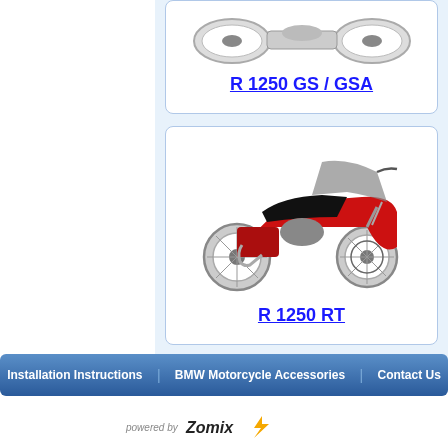[Figure (photo): BMW R 1250 GS / GSA motorcycle top-down or front view, partially cropped at top]
R 1250 GS / GSA
[Figure (photo): BMW R 1250 RT red touring motorcycle side view]
R 1250 RT
Installation Instructions   BMW Motorcycle Accessories   Contact Us
Powered by Zomix